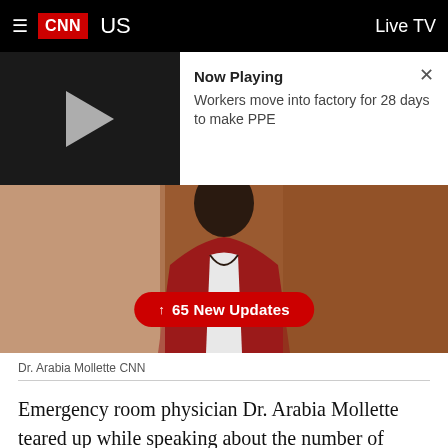CNN US | Live TV
[Figure (screenshot): Video player thumbnail showing play button on dark background with 'Now Playing' panel showing title: Workers move into factory for 28 days to make PPE]
[Figure (photo): Video still of Dr. Arabia Mollette wearing a red jacket, with a red button overlay reading '↑ 65 New Updates']
Dr. Arabia Mollette CNN
Emergency room physician Dr. Arabia Mollette teared up while speaking about the number of deaths from coronavirus at her hospital, which she says has been simply overwhelming for doctors and nurses.